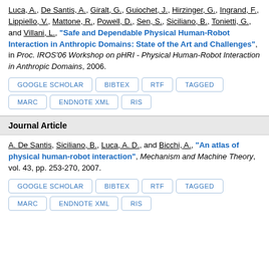Luca, A., De Santis, A., Giralt, G., Guiochet, J., Hirzinger, G., Ingrand, F., Lippiello, V., Mattone, R., Powell, D., Sen, S., Siciliano, B., Tonietti, G., and Villani, L., "Safe and Dependable Physical Human-Robot Interaction in Anthropic Domains: State of the Art and Challenges", in Proc. IROS'06 Workshop on pHRI - Physical Human-Robot Interaction in Anthropic Domains, 2006.
GOOGLE SCHOLAR
BIBTEX
RTF
TAGGED
MARC
ENDNOTE XML
RIS
Journal Article
A. De Santis, Siciliano, B., Luca, A. D., and Bicchi, A., "An atlas of physical human-robot interaction", Mechanism and Machine Theory, vol. 43, pp. 253-270, 2007.
GOOGLE SCHOLAR
BIBTEX
RTF
TAGGED
MARC
ENDNOTE XML
RIS